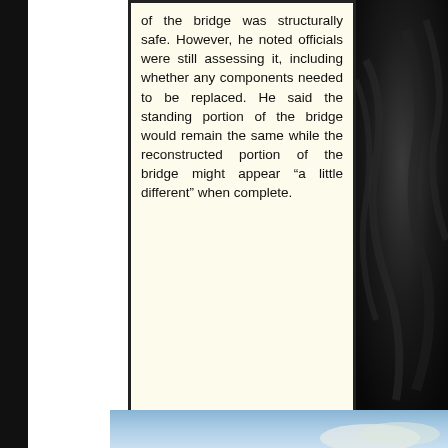of the bridge was structurally safe. However, he noted officials were still assessing it, including whether any components needed to be replaced. He said the standing portion of the bridge would remain the same while the reconstructed portion of the bridge might appear "a little different" when complete.
[Figure (photo): Dark silky/fabric textured background occupying the right portion of the page]
[Figure (photo): Partial photo at the bottom showing blue sky with some clouds]